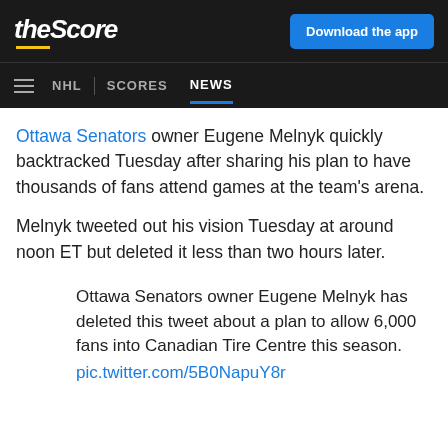theScore | Download the app | NHL | SCORES | NEWS
Ottawa Senators owner Eugene Melnyk quickly backtracked Tuesday after sharing his plan to have thousands of fans attend games at the team's arena.
Melnyk tweeted out his vision Tuesday at around noon ET but deleted it less than two hours later.
Ottawa Senators owner Eugene Melnyk has deleted this tweet about a plan to allow 6,000 fans into Canadian Tire Centre this season.
pic.twitter.com/5B0NapuY8r